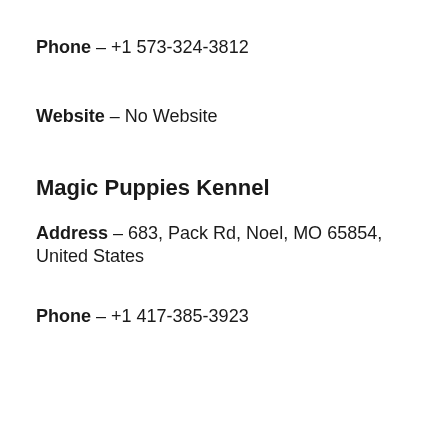Phone – +1 573-324-3812
Website – No Website
Magic Puppies Kennel
Address – 683, Pack Rd, Noel, MO 65854, United States
Phone – +1 417-385-3923
[Figure (screenshot): CVS Pharmacy advertisement showing in-store shopping, drive-through, and delivery options with navigation arrow icon]